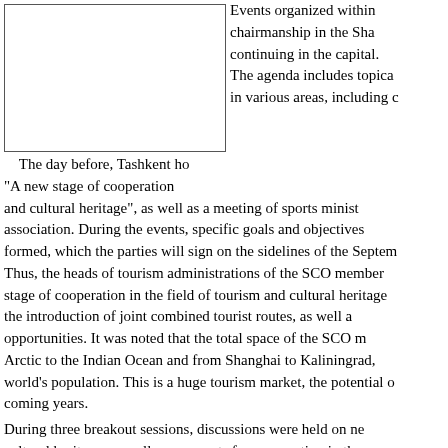[Figure (photo): Photograph placeholder box (empty white rectangle with border)]
Events organized within chairmanship in the Sha continuing in the capital. The agenda includes topica in various areas, including c
The day before, Tashkent ho "A new stage of cooperation and cultural heritage", as well as a meeting of sports minist association. During the events, specific goals and objectives formed, which the parties will sign on the sidelines of the Septem Thus, the heads of tourism administrations of the SCO member stage of cooperation in the field of tourism and cultural heritage the introduction of joint combined tourist routes, as well a opportunities. It was noted that the total space of the SCO m Arctic to the Indian Ocean and from Shanghai to Kaliningrad, world's population. This is a huge tourism market, the potential o coming years. During three breakout sessions, discussions were held on ne cultural heritage, as well as prospects for cooperation in the education and science in the field of tourism. According to the data announced at the forum, in 2019, abo countries for holidays abroad. The largest number of traveler